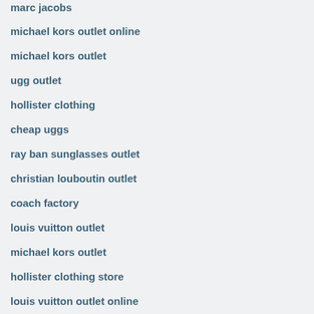marc jacobs
michael kors outlet online
michael kors outlet
ugg outlet
hollister clothing
cheap uggs
ray ban sunglasses outlet
christian louboutin outlet
coach factory
louis vuitton outlet
michael kors outlet
hollister clothing store
louis vuitton outlet online